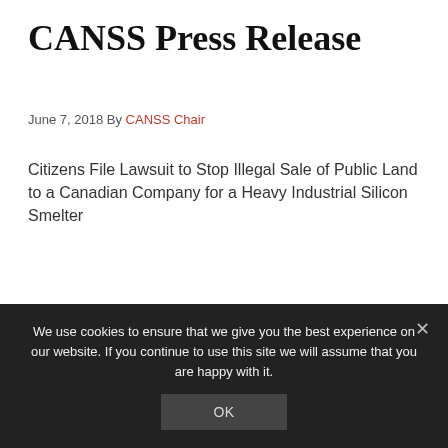CANSS Press Release
June 7, 2018 By CANSS Chair
Citizens File Lawsuit to Stop Illegal Sale of Public Land to a Canadian Company for a Heavy Industrial Silicon Smelter
Contact:  CANSS Attorney, Norman Semanko 208-863-7921
We use cookies to ensure that we give you the best experience on our website. If you continue to use this site we will assume that you are happy with it.